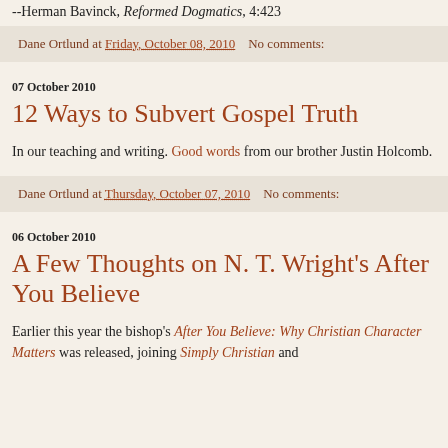--Herman Bavinck, Reformed Dogmatics, 4:423
Dane Ortlund at Friday, October 08, 2010   No comments:
07 October 2010
12 Ways to Subvert Gospel Truth
In our teaching and writing. Good words from our brother Justin Holcomb.
Dane Ortlund at Thursday, October 07, 2010   No comments:
06 October 2010
A Few Thoughts on N. T. Wright's After You Believe
Earlier this year the bishop's After You Believe: Why Christian Character Matters was released, joining Simply Christian and